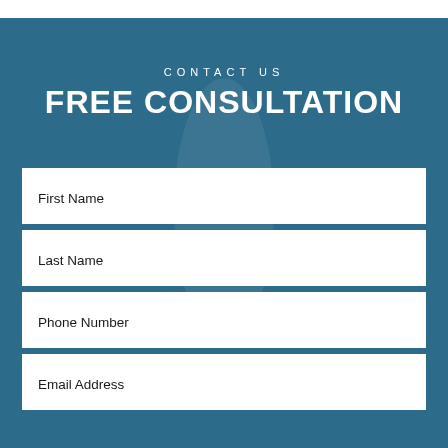CONTACT US
FREE CONSULTATION
First Name
Last Name
Phone Number
Email Address